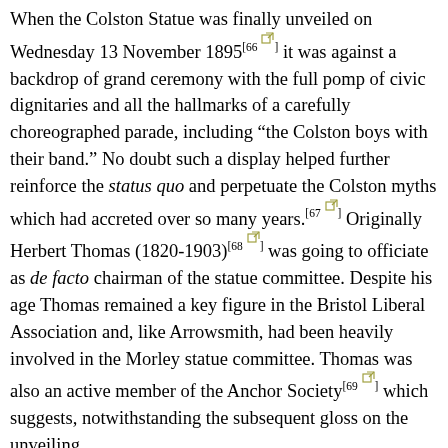When the Colston Statue was finally unveiled on Wednesday 13 November 1895[66] it was against a backdrop of grand ceremony with the full pomp of civic dignitaries and all the hallmarks of a carefully choreographed parade, including "the Colston boys with their band." No doubt such a display helped further reinforce the status quo and perpetuate the Colston myths which had accreted over so many years.[67] Originally Herbert Thomas (1820-1903)[68] was going to officiate as de facto chairman of the statue committee. Despite his age Thomas remained a key figure in the Bristol Liberal Association and, like Arrowsmith, had been heavily involved in the Morley statue committee. Thomas was also an active member of the Anchor Society[69] which suggests, notwithstanding the subsequent gloss on the unveiling